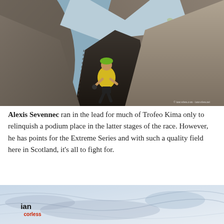[Figure (photo): A trail runner in a yellow top and green cap scrambling through a narrow rocky passage between large boulders, with a watermark reading '© iancorless.com - iancorless.net' in the lower right.]
Alexis Sevennec ran in the lead for much of Trofeo Kima only to relinquish a podium place in the latter stages of the race. However, he has points for the Extreme Series and with such a quality field here in Scotland, it's all to fight for.
[Figure (photo): Partial view of a snowy/icy mountain landscape from above, with a logo watermark reading 'ian' in black bold text with 'corless' in red below-right.]